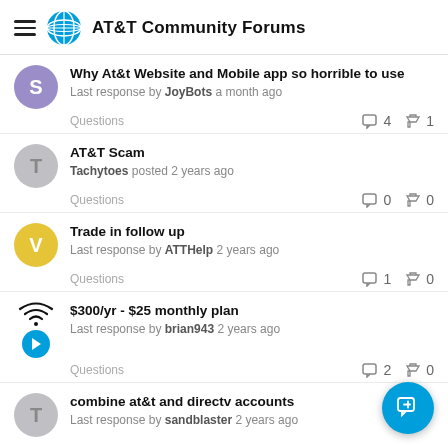AT&T Community Forums
Why At&t Website and Mobile app so horrible to use — Last response by JoyBots a month ago — Questions — Comments: 4, Likes: 1
AT&T Scam — Tachytoes posted 2 years ago — Questions — Comments: 0, Likes: 0
Trade in follow up — Last response by ATTHelp 2 years ago — Questions — Comments: 1, Likes: 0
$300/yr - $25 monthly plan — Last response by brian943 2 years ago — Questions — Comments: 2, Likes: 0
combine at&t and directv accounts — Last response by sandblaster 2 years ago